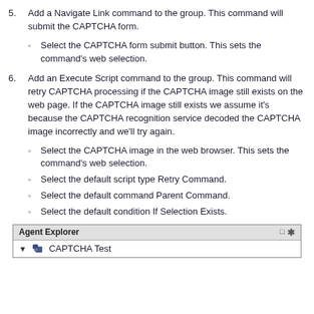5. Add a Navigate Link command to the group. This command will submit the CAPTCHA form.
Select the CAPTCHA form submit button. This sets the command's web selection.
6. Add an Execute Script command to the group. This command will retry CAPTCHA processing if the CAPTCHA image still exists on the web page. If the CAPTCHA image still exists we assume it's because the CAPTCHA recognition service decoded the CAPTCHA image incorrectly and we'll try again.
Select the CAPTCHA image in the web browser. This sets the command's web selection.
Select the default script type Retry Command.
Select the default command Parent Command.
Select the default condition If Selection Exists.
[Figure (screenshot): Agent Explorer panel showing 'CAPTCHA Test' entry with a tree icon and expand arrow.]